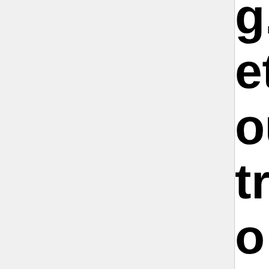g. It was m- et, not a long- out tradition- try ballet (w- o enjoy, but ent reasons the first int- i went to th- d took a pic-